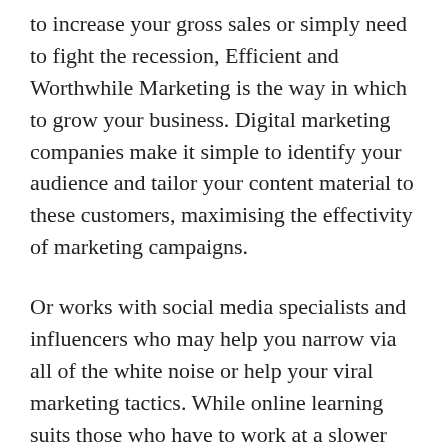to increase your gross sales or simply need to fight the recession, Efficient and Worthwhile Marketing is the way in which to grow your business. Digital marketing companies make it simple to identify your audience and tailor your content material to these customers, maximising the effectivity of marketing campaigns.
Or works with social media specialists and influencers who may help you narrow via all of the white noise or help your viral marketing tactics. While online learning suits those who have to work at a slower tempo, on-campus levels cater to people who need to learn full time and who hope to network with each friends and school alike. Social Media promotions, blog writing, strong WEB OPTIMIZATION software, attractive